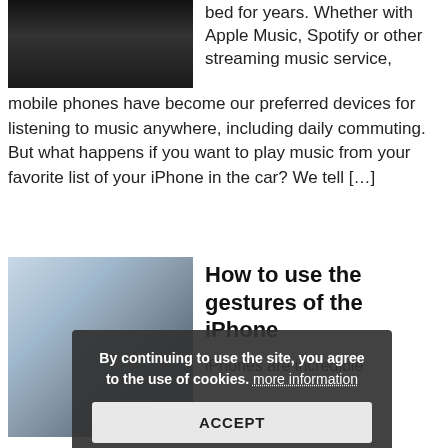[Figure (photo): Dark image, partially visible, car interior or dark background]
bed for years. Whether with Apple Music, Spotify or other streaming music service, mobile phones have become our preferred devices for listening to music anywhere, including daily commuting. But what happens if you want to play music from your favorite list of your iPhone in the car? We tell […]
[Figure (photo): Person holding an iPhone showing home screen with apps, touching the screen with a finger]
How to use the gestures of the iPhone
iPhones are incredible devices. If you stop to think, you would feel the gift of allowing you to browse through web pages, play games, keep in touch with friends and family, perform work. As well as make calls and video
By continuing to use the site, you agree to the use of cookies. more information ACCEPT